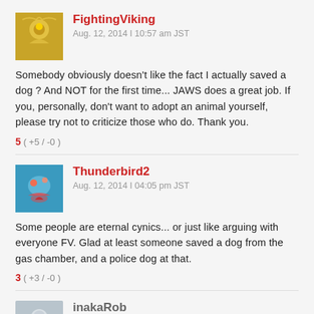FightingViking
Aug. 12, 2014 I 10:57 am JST

Somebody obviously doesn't like the fact I actually saved a dog ? And NOT for the first time... JAWS does a great job. If you, personally, don't want to adopt an animal yourself, please try not to criticize those who do. Thank you.

5 ( +5 / -0 )
Thunderbird2
Aug. 12, 2014 I 04:05 pm JST

Some people are eternal cynics... or just like arguing with everyone FV. Glad at least someone saved a dog from the gas chamber, and a police dog at that.

3 ( +3 / -0 )
inakaRob
Aug. 12, 2014 I 04:37 pm JST